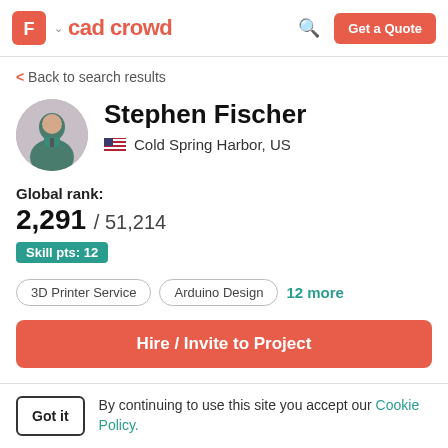cad crowd — Get a Quote
< Back to search results
Stephen Fischer
Cold Spring Harbor, US
Global rank: 2,291 / 51,214
Skill pts: 12
3D Printer Service
Arduino Design
12 more
Hire / Invite to Project
Got it — By continuing to use this site you accept our Cookie Policy.